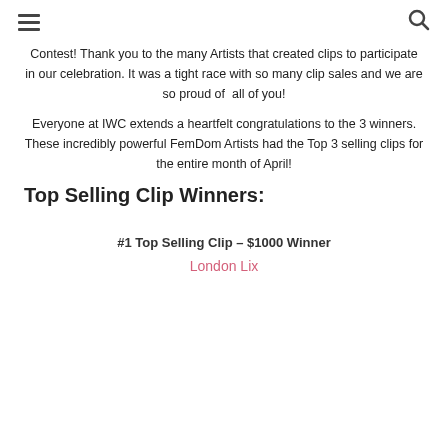≡  🔍
Contest! Thank you to the many Artists that created clips to participate in our celebration. It was a tight race with so many clip sales and we are so proud of all of you!
Everyone at IWC extends a heartfelt congratulations to the 3 winners. These incredibly powerful FemDom Artists had the Top 3 selling clips for the entire month of April!
Top Selling Clip Winners:
#1 Top Selling Clip – $1000 Winner
London Lix